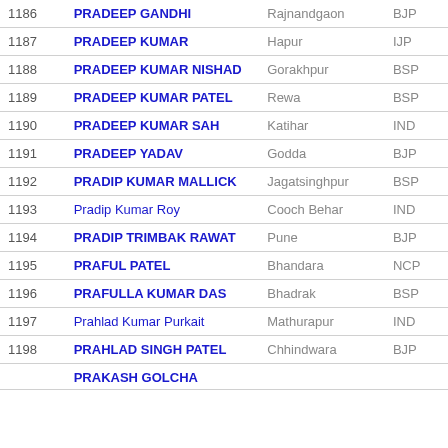| # | Name | Constituency | Party |
| --- | --- | --- | --- |
| 1186 | PRADEEP GANDHI | Rajnandgaon | BJP |
| 1187 | PRADEEP KUMAR | Hapur | IJP |
| 1188 | PRADEEP KUMAR NISHAD | Gorakhpur | BSP |
| 1189 | PRADEEP KUMAR PATEL | Rewa | BSP |
| 1190 | PRADEEP KUMAR SAH | Katihar | IND |
| 1191 | PRADEEP YADAV | Godda | BJP |
| 1192 | PRADIP KUMAR MALLICK | Jagatsinghpur | BSP |
| 1193 | Pradip Kumar Roy | Cooch Behar | IND |
| 1194 | PRADIP TRIMBAK RAWAT | Pune | BJP |
| 1195 | PRAFUL PATEL | Bhandara | NCP |
| 1196 | PRAFULLA KUMAR DAS | Bhadrak | BSP |
| 1197 | Prahlad Kumar Purkait | Mathurapur | IND |
| 1198 | PRAHLAD SINGH PATEL | Chhindwara | BJP |
| 1199 | PRAKASH GOLCHA |  |  |